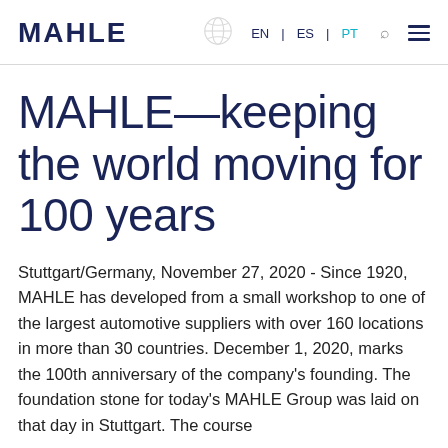MAHLE — EN | ES | PT [search] [menu]
MAHLE—keeping the world moving for 100 years
Stuttgart/Germany, November 27, 2020 - Since 1920, MAHLE has developed from a small workshop to one of the largest automotive suppliers with over 160 locations in more than 30 countries. December 1, 2020, marks the 100th anniversary of the company's founding. The foundation stone for today's MAHLE Group was laid on that day in Stuttgart. The course